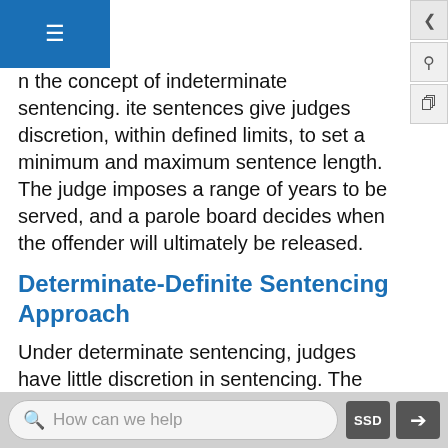on the concept of indeterminate sentencing. ite sentences give judges discretion, within defined limits, to set a minimum and maximum sentence length. The judge imposes a range of years to be served, and a parole board decides when the offender will ultimately be released.
Determinate-Definite Sentencing Approach
Under determinate sentencing, judges have little discretion in sentencing. The legislature sets specific parameters on the sentence, and the judge sets a fixed term of years within that time frame. The sentencing laws allow the court to increase the term if it finds aggravating factors and reduce the term if it